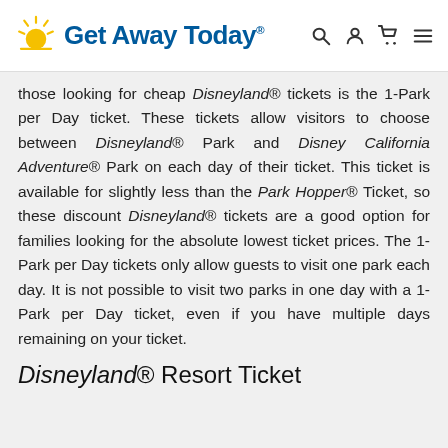Get Away Today
those looking for cheap Disneyland® tickets is the 1-Park per Day ticket. These tickets allow visitors to choose between Disneyland® Park and Disney California Adventure® Park on each day of their ticket. This ticket is available for slightly less than the Park Hopper® Ticket, so these discount Disneyland® tickets are a good option for families looking for the absolute lowest ticket prices. The 1-Park per Day tickets only allow guests to visit one park each day. It is not possible to visit two parks in one day with a 1-Park per Day ticket, even if you have multiple days remaining on your ticket.
Disneyland® Resort Ticket